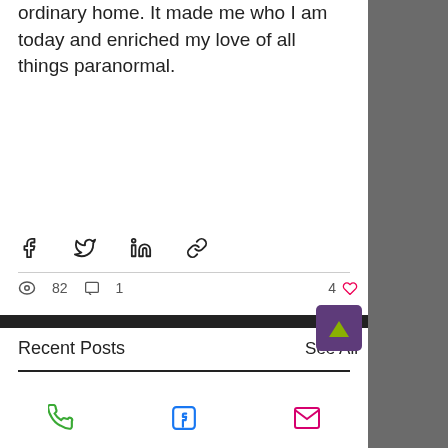ordinary home. It made me who I am today and enriched my love of all things paranormal.
[Figure (infographic): Social share icons row: Facebook, Twitter, LinkedIn, Link/chain icon]
82 views  1 comment  4 likes
Recent Posts
See All
[Figure (infographic): Bottom footer bar with phone icon (green), Facebook icon (blue), and email/envelope icon (pink/magenta)]